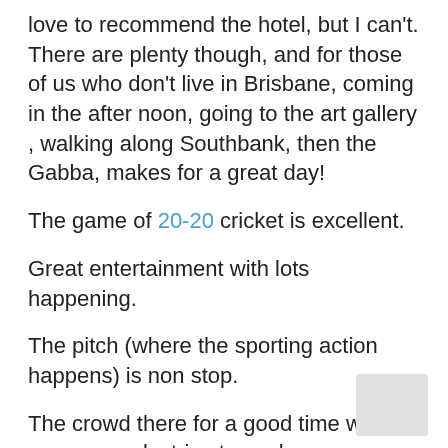love to recommend the hotel, but I can't. There are plenty though, and for those of us who don't live in Brisbane, coming in the after noon, going to the art gallery , walking along Southbank, then the Gabba, makes for a great day!
The game of 20-20 cricket is excellent.
Great entertainment with lots happening.
The pitch (where the sporting action happens) is non stop.
The crowd there for a good time which means an electric atmosphere.
The facilities, views, and access to toilets, exits etc exceptional.
I like the Gabba. It has a really good vibe!